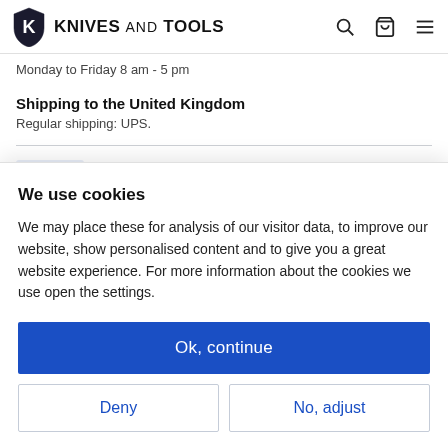KNIVES AND TOOLS
Monday to Friday 8 am - 5 pm
Shipping to the United Kingdom
Regular shipping: UPS.
service
We use cookies
We may place these for analysis of our visitor data, to improve our website, show personalised content and to give you a great website experience. For more information about the cookies we use open the settings.
Ok, continue
Deny
No, adjust